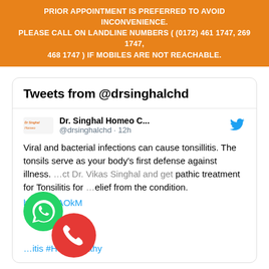PRIOR APPOINTMENT IS PREFERRED TO AVOID INCONVENIENCE. PLEASE CALL ON LANDLINE NUMBERS ( (0172) 461 1747, 269 1747, 468 1747 ) IF MOBILES ARE NOT REACHABLE.
[Figure (screenshot): Tweet card from @drsinghalchd showing a tweet about tonsillitis treatment by Dr. Vikas Singhal with WhatsApp and phone call buttons overlaid.]